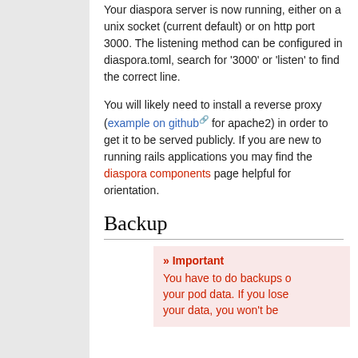Your diaspora server is now running, either on a unix socket (current default) or on http port 3000. The listening method can be configured in diaspora.toml, search for '3000' or 'listen' to find the correct line.
You will likely need to install a reverse proxy (example on github for apache2) in order to get it to be served publicly. If you are new to running rails applications you may find the diaspora components page helpful for orientation.
Backup
»» Important
You have to do backups of your pod data. If you lose your data, you won't be